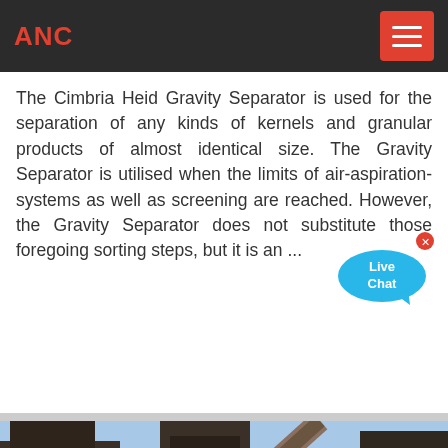ANC
The Cimbria Heid Gravity Separator is used for the separation of any kinds of kernels and granular products of almost identical size. The Gravity Separator is utilised when the limits of air-aspiration-systems as well as screening are reached. However, the Gravity Separator does not substitute those foregoing sorting steps, but it is an ...
[Figure (photo): Industrial facility or grain processing plant with large metal structures, conveyor systems, scaffolding, and silos against a clear blue sky.]